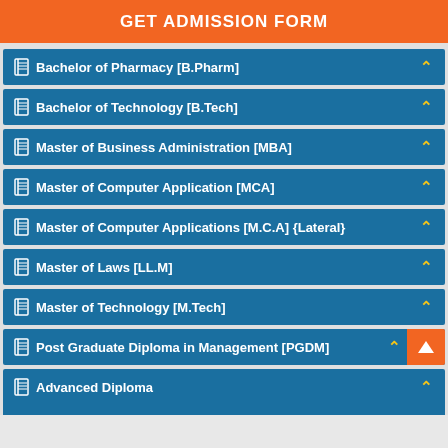GET ADMISSION FORM
Bachelor of Pharmacy [B.Pharm]
Bachelor of Technology [B.Tech]
Master of Business Administration [MBA]
Master of Computer Application [MCA]
Master of Computer Applications [M.C.A] {Lateral}
Master of Laws [LL.M]
Master of Technology [M.Tech]
Post Graduate Diploma in Management [PGDM]
Advanced Diploma